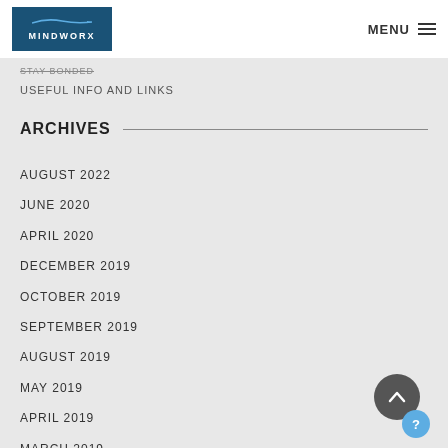MINDWORX | MENU
USEFUL INFO AND LINKS
ARCHIVES
AUGUST 2022
JUNE 2020
APRIL 2020
DECEMBER 2019
OCTOBER 2019
SEPTEMBER 2019
AUGUST 2019
MAY 2019
APRIL 2019
MARCH 2019